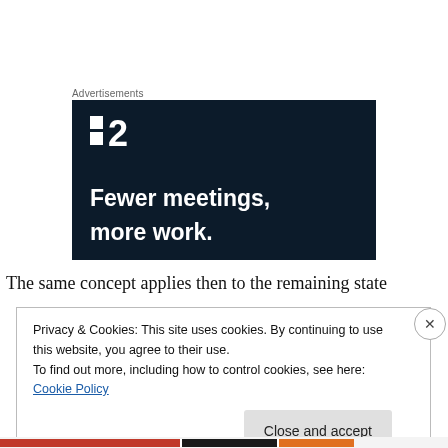Advertisements
[Figure (illustration): Dark navy advertisement banner for a product/service with logo showing two squares and the number 2, with tagline 'Fewer meetings, more work.' in bold white text on dark background]
The same concept applies then to the remaining state
Privacy & Cookies: This site uses cookies. By continuing to use this website, you agree to their use.
To find out more, including how to control cookies, see here: Cookie Policy
Close and accept